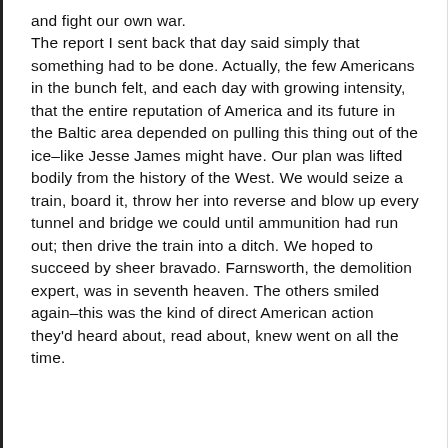and fight our own war. The report I sent back that day said simply that something had to be done. Actually, the few Americans in the bunch felt, and each day with growing intensity, that the entire reputation of America and its future in the Baltic area depended on pulling this thing out of the ice–like Jesse James might have. Our plan was lifted bodily from the history of the West. We would seize a train, board it, throw her into reverse and blow up every tunnel and bridge we could until ammunition had run out; then drive the train into a ditch. We hoped to succeed by sheer bravado. Farnsworth, the demolition expert, was in seventh heaven. The others smiled again–this was the kind of direct American action they'd heard about, read about, knew went on all the time.